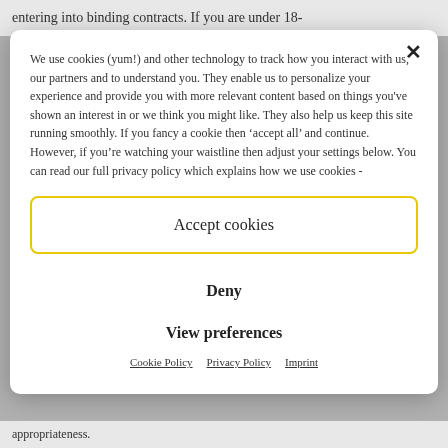entering into binding contracts. If you are under 18-
We use cookies (yum!) and other technology to track how you interact with us, our partners and to understand you. They enable us to personalize your experience and provide you with more relevant content based on things you've shown an interest in or we think you might like. They also help us keep this site running smoothly. If you fancy a cookie then ‘accept all’ and continue. However, if you’re watching your waistline then adjust your settings below. You can read our full privacy policy which explains how we use cookies -
Accept cookies
Deny
View preferences
Cookie Policy   Privacy Policy   Imprint
appropriateness.